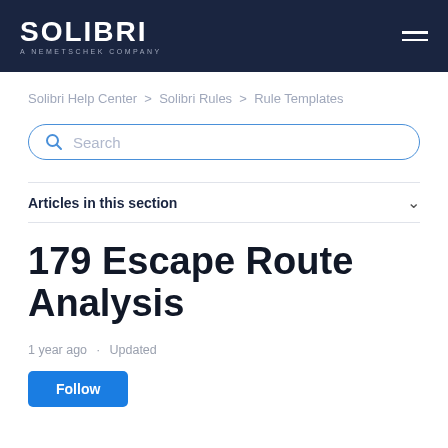SOLIBRI A NEMETSCHEK COMPANY
Solibri Help Center > Solibri Rules > Rule Templates
Search
Articles in this section
179 Escape Route Analysis
1 year ago · Updated
Follow